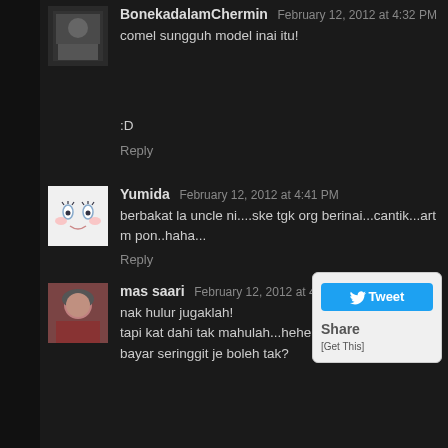BonekadalamChermin February 12, 2012 at 4:32 PM
comel sungguh model inai itu!
:D
Reply
Yumida February 12, 2012 at 4:41 PM
berbakat la uncle ni....ske tgk org berinai...cantik...art m pon..haha...
Reply
[Figure (screenshot): Tweet widget with Tweet button and Share/Get This options]
mas saari February 12, 2012 at 4:51 PM
nak hulur jugaklah!
tapi kat dahi tak mahulah...heheheee
bayar seringgit je boleh tak?